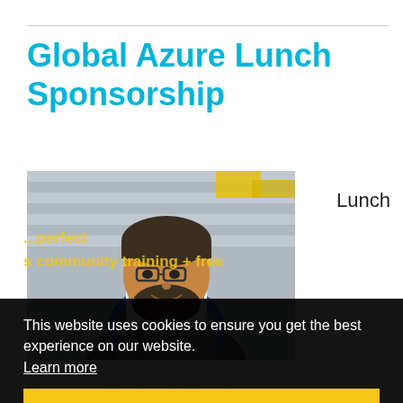Global Azure Lunch Sponsorship
[Figure (photo): A man with glasses and a beard holding Subway sandwich boxes, smiling, standing in front of a corrugated metal background with yellow and green elements]
Lunch
This website uses cookies to ensure you get the best experience on our website.
Learn more
Got it!
announce without any further ado...